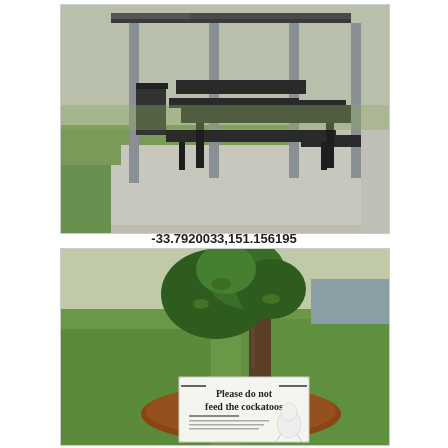[Figure (photo): Outdoor park shelter with metal poles, dark wooden picnic tables and benches on a concrete slab, surrounded by green grass and a path.]
-33.7920033,151.156195
[Figure (photo): Park scene with a young tree on a mulch bed and a sign reading 'Please do not feed the cockatoos' with smaller text below and a cockatoo illustration.]